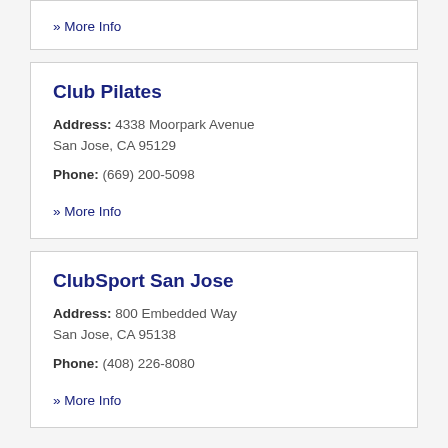» More Info
Club Pilates
Address: 4338 Moorpark Avenue San Jose, CA 95129
Phone: (669) 200-5098
» More Info
ClubSport San Jose
Address: 800 Embedded Way San Jose, CA 95138
Phone: (408) 226-8080
» More Info